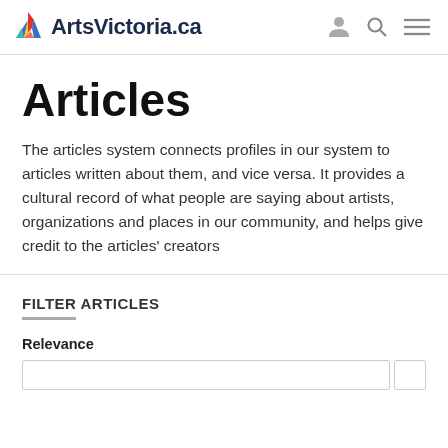ArtsVictoria.ca
Articles
The articles system connects profiles in our system to articles written about them, and vice versa. It provides a cultural record of what people are saying about artists, organizations and places in our community, and helps give credit to the articles' creators
FILTER ARTICLES
Relevance